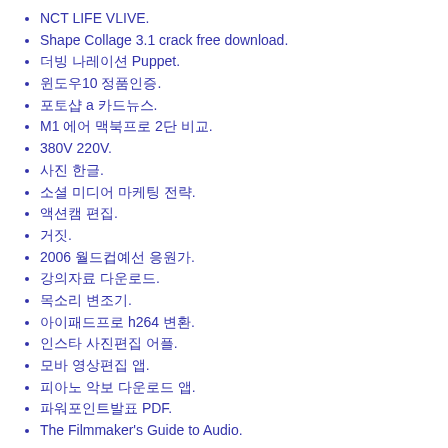NCT LIFE VLIVE.
Shape Collage 3.1 crack free download.
더빙 나레이션 Puppet.
윈도우10 정품인증.
포토샵 a 카드뉴스.
M1 에어 맥북프로 2단 비교.
380V 220V.
사진 한글.
소셜 미디어 마케팅 전략.
액션캠 편집.
거짓.
2006 월드컵예선 응원가.
강의자료 다운로드.
목소리 변조기.
아이패드프로 h264 변환.
인스타 사진편집 어플.
모바 영상편집 앱.
피아노 악보 다운로드 앱.
파워포인트발표 PDF.
The Filmmaker's Guide to Audio.